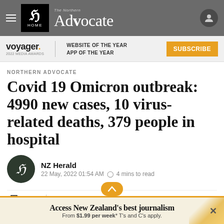The Northern Advocate — HOME
[Figure (screenshot): Voyager 2022 Media Awards logo with text: WEBSITE OF THE YEAR / APP OF THE YEAR, and a SUBSCRIBE button]
NORTHERN ADVOCATE
Covid 19 Omicron outbreak: 4990 new cases, 10 virus-related deaths, 379 people in hospital
NZ Herald
22 May, 2022 01:54 AM  ⊙ 4 mins to read
Save  Share
Access New Zealand's best journalism
From $1.99 per week* T's and C's apply.